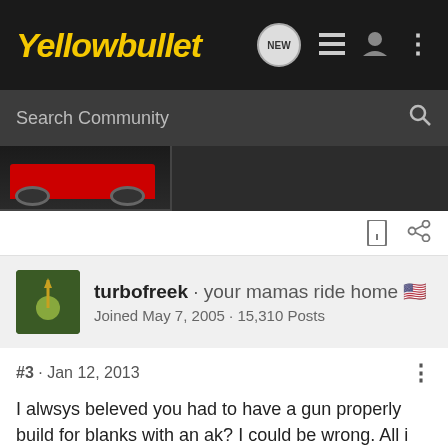Yellowbullet
Search Community
[Figure (photo): Partial view of a red sports car (bottom portion visible)]
turbofreek · your mamas ride home 🇺🇸
Joined May 7, 2005 · 15,310 Posts
#3 · Jan 12, 2013
I alwsys beleved you had to have a gun properly build for blanks with an ak? I could be wrong. All i have is some....never mind sold it all...
Pain is not a measure of mercy!